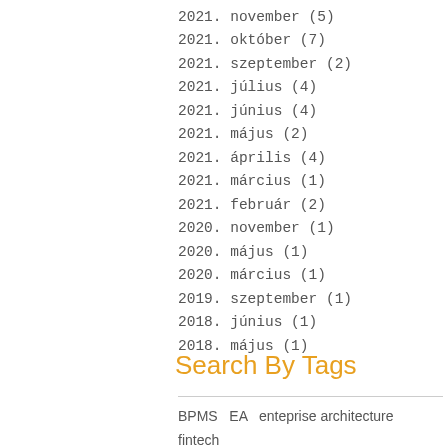2021. november (5)
2021. október (7)
2021. szeptember (2)
2021. július (4)
2021. június (4)
2021. május (2)
2021. április (4)
2021. március (1)
2021. február (2)
2020. november (1)
2020. május (1)
2020. március (1)
2019. szeptember (1)
2018. június (1)
2018. május (1)
Search By Tags
BPMS   EA   enteprise architecture   fintech
HOPEX ITPM   MEGA   Process management